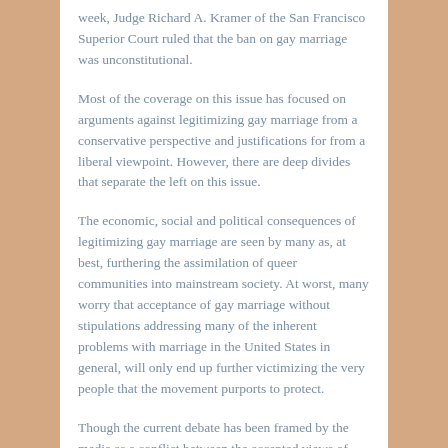week, Judge Richard A. Kramer of the San Francisco Superior Court ruled that the ban on gay marriage was unconstitutional.
Most of the coverage on this issue has focused on arguments against legitimizing gay marriage from a conservative perspective and justifications for from a liberal viewpoint. However, there are deep divides that separate the left on this issue.
The economic, social and political consequences of legitimizing gay marriage are seen by many as, at best, furthering the assimilation of queer communities into mainstream society. At worst, many worry that acceptance of gay marriage without stipulations addressing many of the inherent problems with marriage in the United States in general, will only end up further victimizing the very people that the movement purports to protect.
Though the current debate has been framed by the media as a conflict between the accepted views of